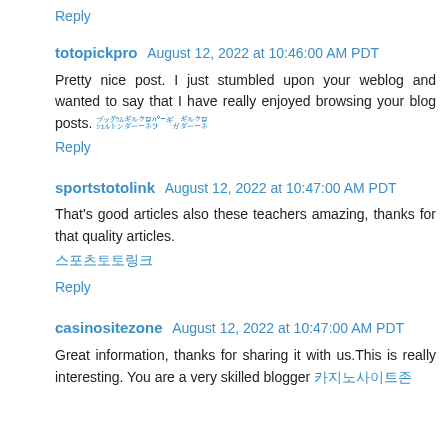Reply
totopickpro August 12, 2022 at 10:46:00 AM PDT
Pretty nice post. I just stumbled upon your weblog and wanted to say that I have really enjoyed browsing your blog posts. 메이저사이트
Reply
sportstotolink August 12, 2022 at 10:47:00 AM PDT
That's good articles also these teachers amazing, thanks for that quality articles. 스포츠토토링크
Reply
casinositezone August 12, 2022 at 10:47:00 AM PDT
Great information, thanks for sharing it with us.This is really interesting. You are a very skilled blogger 카지노사이트존